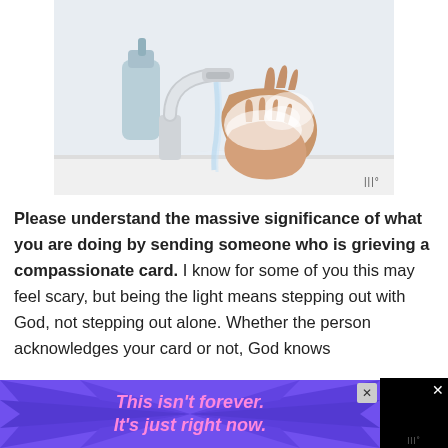[Figure (photo): A person washing their hands with soap and water at a white sink with a chrome faucet and a blue soap dispenser in the background.]
Please understand the massive significance of what you are doing by sending someone who is grieving a compassionate card. I know for some of you this may feel scary, but being the light means stepping out with God, not stepping out alone. Whether the person acknowledges your card or not, God knows
[Figure (other): Advertisement banner with purple/violet background and starburst rays, text reading: This isn't forever. It's just right now.]